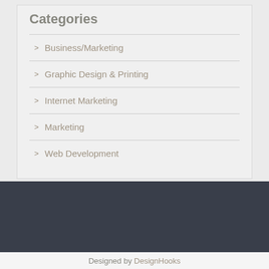Categories
Business/Marketing
Graphic Design & Printing
Internet Marketing
Marketing
Web Development
Designed by DesignHooks